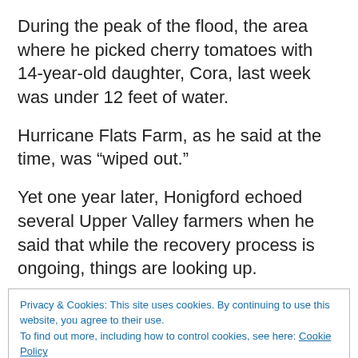During the peak of the flood, the area where he picked cherry tomatoes with 14-year-old daughter, Cora, last week was under 12 feet of water.
Hurricane Flats Farm, as he said at the time, was “wiped out.”
Yet one year later, Honigford echoed several Upper Valley farmers when he said that while the recovery process is ongoing, things are looking up.
Privacy & Cookies: This site uses cookies. By continuing to use this website, you agree to their use.
To find out more, including how to control cookies, see here: Cookie Policy
million